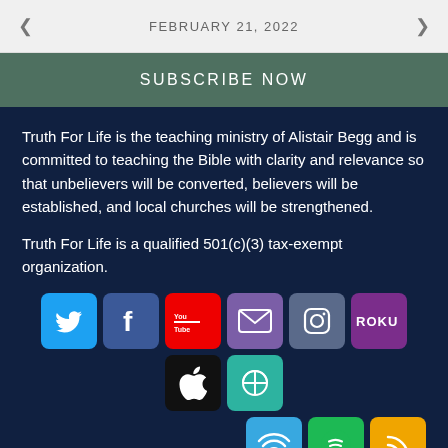< FEBRUARY 21, 2022 >
SUBSCRIBE NOW
Truth For Life is the teaching ministry of Alistair Begg and is committed to teaching the Bible with clarity and relevance so that unbelievers will be converted, believers will be established, and local churches will be strengthened.
Truth For Life is a qualified 501(c)(3) tax-exempt organization.
[Figure (other): Row of social media and app icons: Twitter, Facebook, YouTube, Email, Instagram, Roku, Apple, Truth for Life app; second row: WiFi/Overcast, Spotify, RSS]